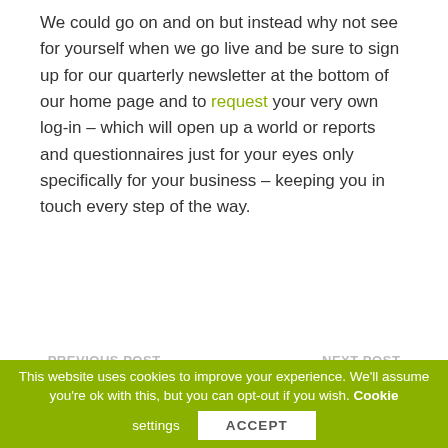We could go on and on but instead why not see for yourself when we go live and be sure to sign up for our quarterly newsletter at the bottom of our home page and to request your very own log-in – which will open up a world or reports and questionnaires just for your eyes only specifically for your business – keeping you in touch every step of the way.
← PREVIOUS POST    NEXT POST →
This website uses cookies to improve your experience. We'll assume you're ok with this, but you can opt-out if you wish. Cookie settings ACCEPT